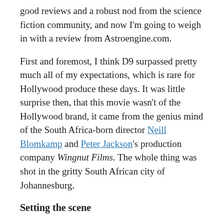good reviews and a robust nod from the science fiction community, and now I'm going to weigh in with a review from Astroengine.com.
First and foremost, I think D9 surpassed pretty much all of my expectations, which is rare for Hollywood produce these days. It was little surprise then, that this movie wasn't of the Hollywood brand, it came from the genius mind of the South Africa-born director Neill Blomkamp and Peter Jackson's production company Wingnut Films. The whole thing was shot in the gritty South African city of Johannesburg.
Setting the scene